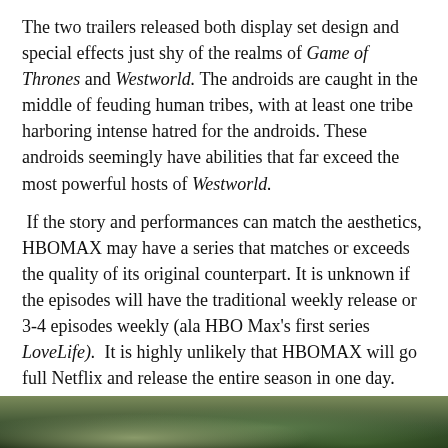The two trailers released both display set design and special effects just shy of the realms of Game of Thrones and Westworld. The androids are caught in the middle of feuding human tribes, with at least one tribe harboring intense hatred for the androids. These androids seemingly have abilities that far exceed the most powerful hosts of Westworld.
If the story and performances can match the aesthetics, HBOMAX may have a series that matches or exceeds the quality of its original counterpart. It is unknown if the episodes will have the traditional weekly release or 3-4 episodes weekly (ala HBO Max’s first series LoveLife). It is highly unlikely that HBOMAX will go full Netflix and release the entire season in one day.
Raised by Wolves debuts on September 3, 2020 in HBO Max. Don’t miss out on what could be the new ‘gold standard.’
[Figure (photo): Bottom strip showing a dark outdoor scene, partially visible, with green and dark tones suggesting a forest or natural environment.]